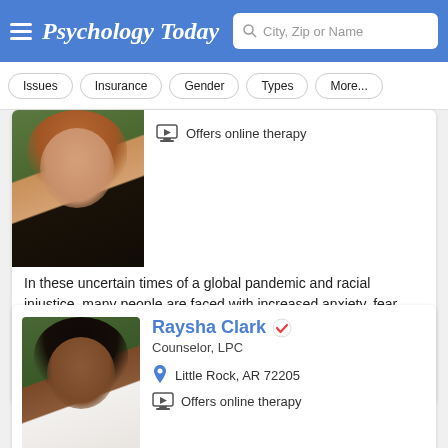Psychology Today — City, Zip or Name search
Issues
Insurance
Gender
Types
More...
Offers online therapy
In these uncertain times of a global pandemic and racial injustice, many people are faced with increased anxiety, fear, anger and are left feeling disheartened. The gift of a
Email
(501) 290-4887
Raysha Clark
Counselor, LPC
Little Rock, AR 72205
Offers online therapy